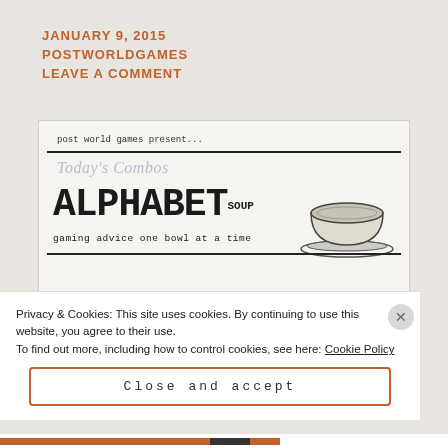JANUARY 9, 2015
POSTWORLDGAMES
LEAVE A COMMENT
[Figure (illustration): Alphabet Soup masthead image: 'post world games present...' at top, 'Today's Combos' in faded italic, large bold stamp-style text reading 'ALPHABET SOUP - gaming advice one bowl at a time', with an illustration of a bowl on a plate, price '99¢' in lower right]
Privacy & Cookies: This site uses cookies. By continuing to use this website, you agree to their use.
To find out more, including how to control cookies, see here: Cookie Policy
Close and accept